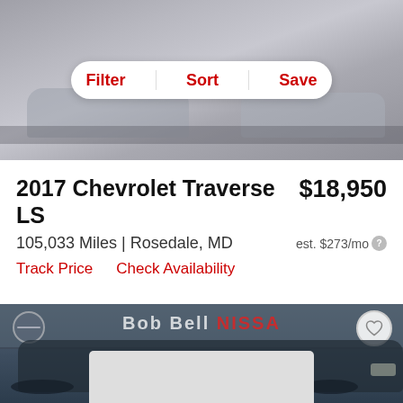[Figure (photo): Photo of cars at a dealership lot, partially visible at top]
Filter  Sort  Save
2017 Chevrolet Traverse LS
$18,950
105,033 Miles | Rosedale, MD
est. $273/mo
Track Price   Check Availability
[Figure (photo): Photo of a dark blue 2017 Chevrolet Traverse SUV parked in front of Bob Bell Nissan dealership]